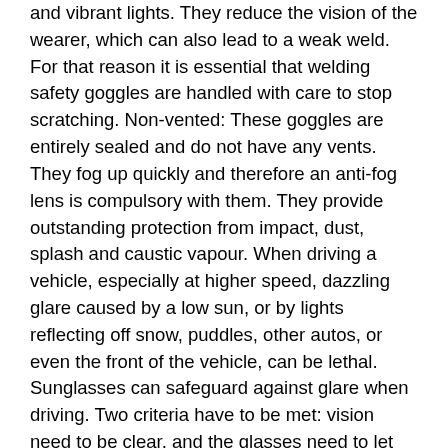and vibrant lights. They reduce the vision of the wearer, which can also lead to a weak weld. For that reason it is essential that welding safety goggles are handled with care to stop scratching. Non-vented: These goggles are entirely sealed and do not have any vents. They fog up quickly and therefore an anti-fog lens is compulsory with them. They provide outstanding protection from impact, dust, splash and caustic vapour. When driving a vehicle, especially at higher speed, dazzling glare caused by a low sun, or by lights reflecting off snow, puddles, other autos, or even the front of the vehicle, can be lethal. Sunglasses can safeguard against glare when driving. Two criteria have to be met: vision need to be clear, and the glasses need to let adequate light get to the eyes for the driving circumstances. General-objective sunglasses could be also dark, or otherwise unsuitable for driving. Opting for photochromic lenses is one particular of the best choices for very best eye vision and comfort while moving outdoors as they help shield eyes in the changing lighting